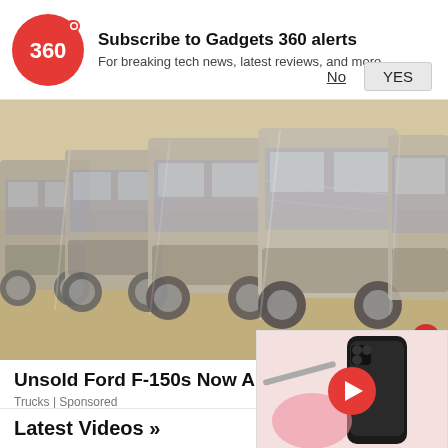Subscribe to Gadgets 360 alerts
For breaking tech news, latest reviews, and more
[Figure (photo): Row of Ford F-150 pickup trucks covered in plastic wrap/protective covering, parked inside a warehouse or facility.]
Unsold Ford F-150s Now Almost Bei Prices)
Trucks | Sponsored
[Figure (screenshot): Floating video popup showing a dark smartphone (likely Realme or similar) with a red play button overlay, on a pink/light background.]
Latest Videos »